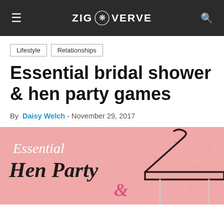ZIG VERVE
Lifestyle
Relationships
Essential bridal shower & hen party games
By Daisy Welch - November 29, 2017
[Figure (illustration): Pink banner with handwritten-style text reading 'Essential Hen Party &' with a clothes hanger graphic on the right side]